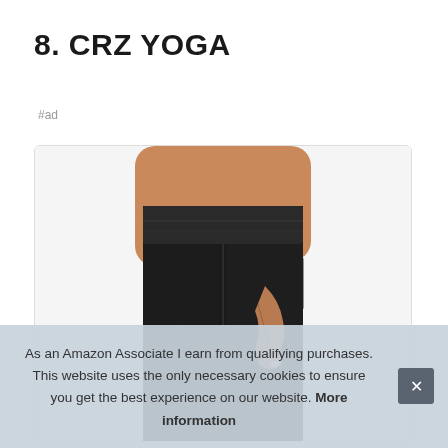8. CRZ YOGA
#ad
[Figure (photo): Close-up photo of a woman wearing black high-waist yoga leggings with side pocket, showing her midsection and hand touching the pocket area.]
As an Amazon Associate I earn from qualifying purchases. This website uses the only necessary cookies to ensure you get the best experience on our website. More information